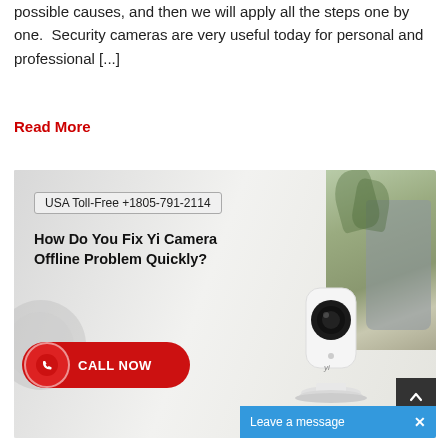possible causes, and then we will apply all the steps one by one.  Security cameras are very useful today for personal and professional [...]
Read More
[Figure (photo): Advertisement image for Yi Camera support. Contains: USA Toll-Free +1805-791-2114 badge, headline 'How Do You Fix Yi Camera Offline Problem Quickly?', a red CALL NOW button with phone icon, a Yi smart home security camera on a white pedestal, a glass vase with plant in background. Bottom right shows a dark scroll-to-top button and a blue 'Leave a message X' chat bar.]